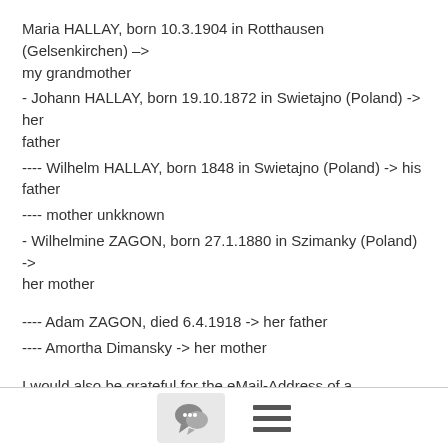Maria HALLAY, born 10.3.1904 in Rotthausen (Gelsenkirchen) –> my grandmother
- Johann HALLAY, born 19.10.1872 in Swietajno (Poland) -> her father
---- Wilhelm HALLAY, born 1848 in Swietajno (Poland) -> his father
---- mother unkknown
- Wilhelmine ZAGON, born 27.1.1880 in Szimanky (Poland) -> her mother

---- Adam ZAGON, died 6.4.1918 -> her father
---- Amortha Dimansky -> her mother

I would also be grateful for the eMail-Address of a professional researcher who is specialized on this region in Poland.

Thank you!

--
[Ze'ev Itzhak Tschan, Har Adar, Israel]
[Figure (other): Footer bar with a chat bubble icon button and a hamburger menu icon]